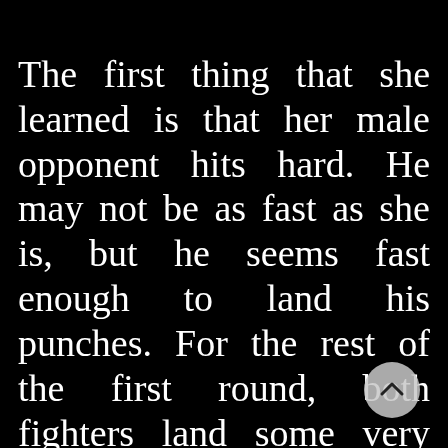...and punches. The first thing that she learned is that her male opponent hits hard. He may not be as fast as she is, but he seems fast enough to land his punches. For the rest of the first round, both fighters land some very good shots. The Mexican Champion manages to stagger her...